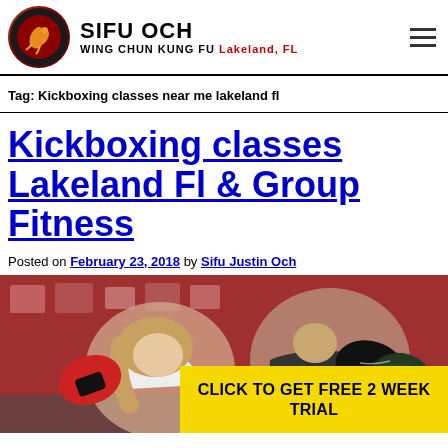SIFU OCH WING CHUN KUNG FU Lakeland, FL
Tag: Kickboxing classes near me lakeland fl
Kickboxing classes Lakeland Fl & Group Fitness
Posted on February 23, 2018 by Sifu Justin Och
[Figure (photo): Two people sparring with boxing gloves in a martial arts gym with red walls and photos in the background. A yellow banner overlay reads CLICK TO GET FREE 2 WEEK TRIAL.]